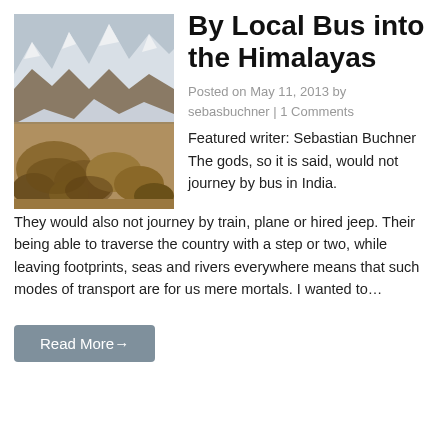[Figure (photo): Mountain landscape in the Himalayas: snow-capped peaks in background, brown rocky terrain and boulders in foreground, arid valley in middle ground.]
By Local Bus into the Himalayas
Posted on May 11, 2013 by sebasbuchner | 1 Comments
Featured writer: Sebastian Buchner The gods, so it is said, would not journey by bus in India. They would also not journey by train, plane or hired jeep. Their being able to traverse the country with a step or two, while leaving footprints, seas and rivers everywhere means that such modes of transport are for us mere mortals. I wanted to…
Read More→